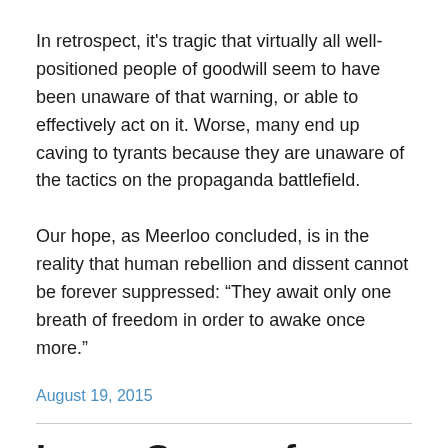In retrospect, it's tragic that virtually all well-positioned people of goodwill seem to have been unaware of that warning, or able to effectively act on it. Worse, many end up caving to tyrants because they are unaware of the tactics on the propaganda battlefield.
Our hope, as Meerloo concluded, is in the reality that human rebellion and dissent cannot be forever suppressed: “They await only one breath of freedom in order to awake once more.”
August 19, 2015
Large Group of French Legislators Visits Crimea